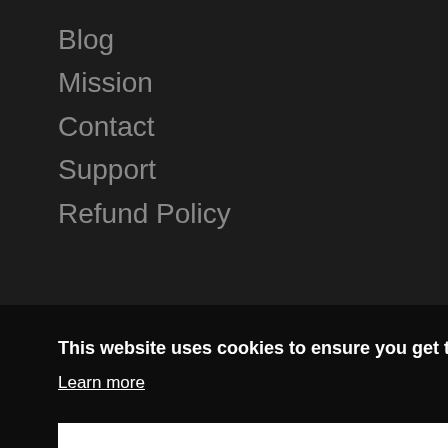Blog
Mission
Contact
Support
Refund Policy
This website uses cookies to ensure you get the best experience on our website.
Learn more
Got it
ng
wn or
have permission to monitor and that you inform all users of those devices that